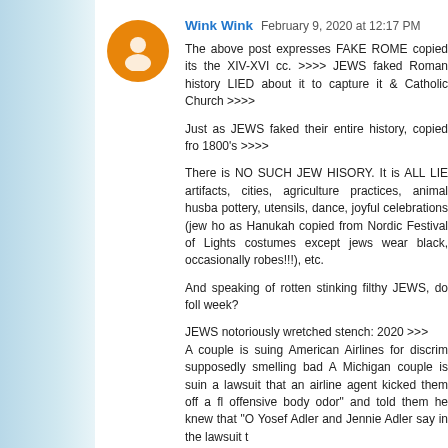Wink Wink  February 9, 2020 at 12:17 PM
The above post expresses FAKE ROME copied its the XIV-XVI cc. >>>> JEWS faked Roman history LIED about it to capture it & Catholic Church >>>>

Just as JEWS faked their entire history, copied fro 1800's >>>>

There is NO SUCH JEW HISORY. It is ALL LIE artifacts, cities, agriculture practices, animal husba pottery, utensils, dance, joyful celebrations (jew ho as Hanukah copied from Nordic Festival of Lights costumes except jews wear black, occasionally robes!!!), etc.

And speaking of rotten stinking filthy JEWS, do foll week?

JEWS notoriously wretched stench: 2020 >>>
A couple is suing American Airlines for discrim supposedly smelling bad A Michigan couple is suin a lawsuit that an airline agent kicked them off a fl offensive body odor" and told them he knew that "O Yosef Adler and Jennie Adler say in the lawsuit t